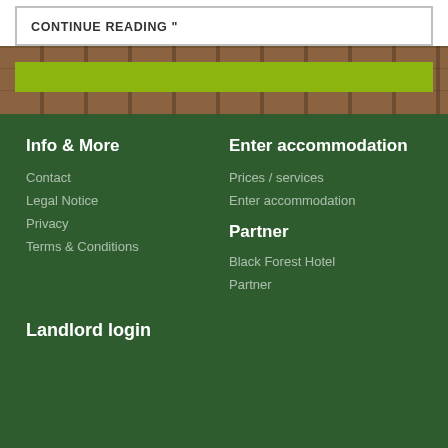CONTINUE READING "
[Figure (illustration): Wood plank texture background with a lime green horizontal bar overlay]
Info & More
Contact
Legal Notice
Privacy
Terms & Conditions
Enter accommodation
Prices / services
Enter accommodation
Partner
Black Forest Hotel
Partner
Landlord login